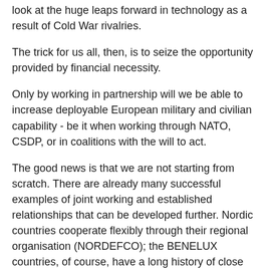look at the huge leaps forward in technology as a result of Cold War rivalries.
The trick for us all, then, is to seize the opportunity provided by financial necessity.
Only by working in partnership will we be able to increase deployable European military and civilian capability - be it when working through NATO, CSDP, or in coalitions with the will to act.
The good news is that we are not starting from scratch. There are already many successful examples of joint working and established relationships that can be developed further. Nordic countries cooperate flexibly through their regional organisation (NORDEFCO); the BENELUX countries, of course, have a long history of close co-operation; and the European Gendarmerie Force is striving for a co-ordinated deployment of gendarmerie capability. Next year sees the 40th anniversary of the UK-Netherlands Joint Amphibious Force. Danish forces are with us in Helmand and Estonians work with British troops in Afghanistan. We need to prioritise, identifying projects based on our realistic